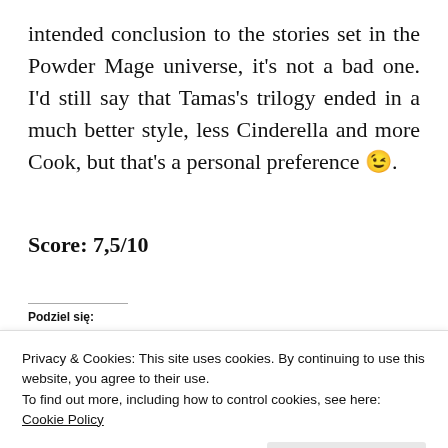intended conclusion to the stories set in the Powder Mage universe, it's not a bad one. I'd still say that Tamas's trilogy ended in a much better style, less Cinderella and more Cook, but that's a personal preference 😉.
Score: 7,5/10
Podziel się:
Privacy & Cookies: This site uses cookies. By continuing to use this website, you agree to their use.
To find out more, including how to control cookies, see here: Cookie Policy
Close and accept
[Figure (photo): Bottom portion showing two book cover images partially visible: left cover appears dark blue with text WRATH, right cover has purple/orange tones]